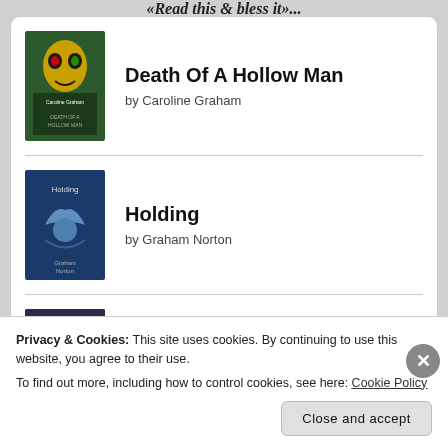«Read this & bless it»...
Death Of A Hollow Man by Caroline Graham
Holding by Graham Norton
Fools and Mortals by Bernard Cornwell
Privacy & Cookies: This site uses cookies. By continuing to use this website, you agree to their use.
To find out more, including how to control cookies, see here: Cookie Policy
Close and accept